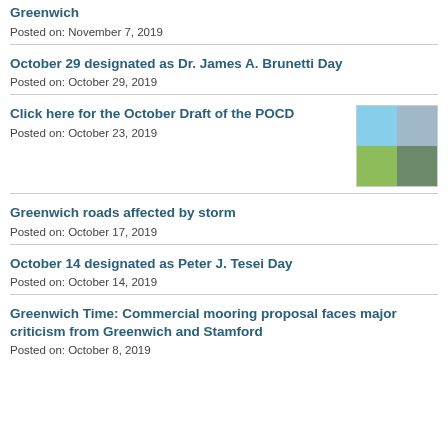Greenwich
Posted on: November 7, 2019
October 29 designated as Dr. James A. Brunetti Day
Posted on: October 29, 2019
Click here for the October Draft of the POCD
Posted on: October 23, 2019
Greenwich roads affected by storm
Posted on: October 17, 2019
October 14 designated as Peter J. Tesei Day
Posted on: October 14, 2019
Greenwich Time: Commercial mooring proposal faces major criticism from Greenwich and Stamford
Posted on: October 8, 2019